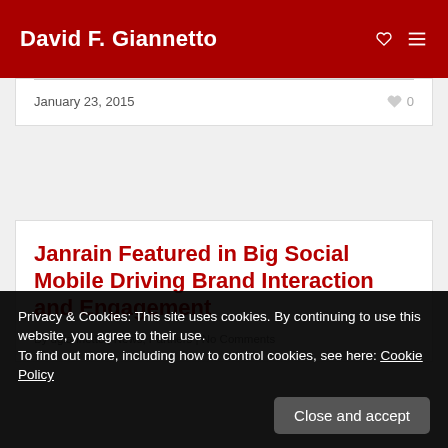David F. Giannetto
January 23, 2015   ♥ 0
Janrain Featured in Big Social Mobile Driving Brand Interaction and Engagement
By dgiannetto | News, Partners | No Comments
Privacy & Cookies: This site uses cookies. By continuing to use this website, you agree to their use.
To find out more, including how to control cookies, see here: Cookie Policy